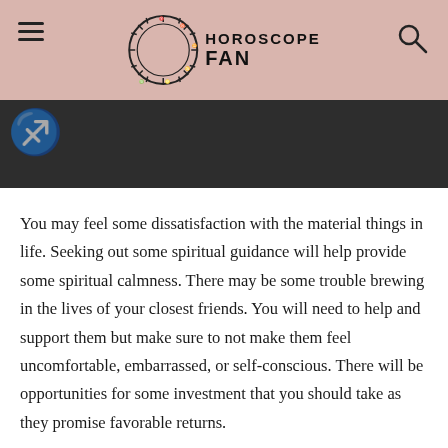HOROSCOPE FAN
You may feel some dissatisfaction with the material things in life. Seeking out some spiritual guidance will help provide some spiritual calmness. There may be some trouble brewing in the lives of your closest friends. You will need to help and support them but make sure to not make them feel uncomfortable, embarrassed, or self-conscious. There will be opportunities for some investment that you should take as they promise favorable returns.